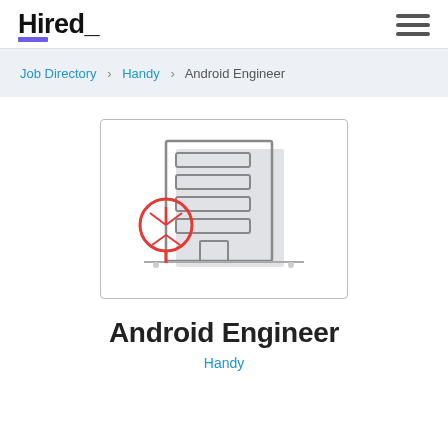Hired_
Job Directory > Handy > Android Engineer
[Figure (illustration): Company building illustration with a red tree icon in front, gray office building with windows and a doorway, on a light gray background]
Android Engineer
Handy